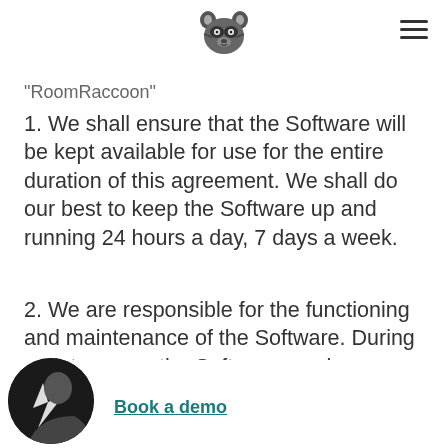RoomRaccoon logo and navigation
"RoomRaccoon"
1. We shall ensure that the Software will be kept available for use for the entire duration of this agreement. We shall do our best to keep the Software up and running 24 hours a day, 7 days a week.
2. We are responsible for the functioning and maintenance of the Software. During maintenance, the Software can be unavailable.
3. We have [right] to update the Software. This includes [managing],
Book a demo